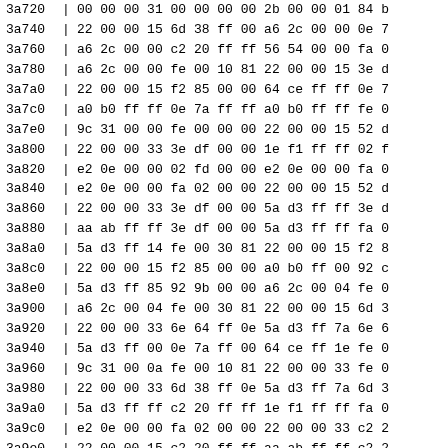| Address | Hex Data |
| --- | --- |
| 3a720 | 00 00 00 31 00 00 00 00 2b 00 00 01 84 b |
| 3a740 | 22 00 00 15 6d 38 ff 00 a6 2c 00 00 0e 7 |
| 3a760 | a6 2c 00 00 c2 20 ff ff 56 54 00 00 fa 0 |
| 3a780 | a6 2c 00 00 fe 00 10 81 22 00 00 15 3e d |
| 3a7a0 | 22 00 00 15 f2 85 00 00 64 ce ff ff 0e 7 |
| 3a7c0 | a0 b0 ff ff 0e 7a ff ff a0 b0 ff ff fe 0 |
| 3a7e0 | 9c 31 00 00 fe 00 00 00 22 00 00 15 52 d |
| 3a800 | 22 00 00 33 3e df 00 00 1e f1 ff ff 02 f |
| 3a820 | e2 0e 00 00 02 fd 00 00 e2 0e 00 00 fa 0 |
| 3a840 | e2 0e 00 00 fa 02 00 00 22 00 00 15 52 d |
| 3a860 | 22 00 00 33 3e df 00 00 5a d3 ff ff 3e d |
| 3a880 | aa ab ff ff 3e df 00 00 5a d3 ff ff fa 0 |
| 3a8a0 | 5a d3 ff 14 fe 00 30 81 22 00 00 15 f2 8 |
| 3a8c0 | 22 00 00 15 f2 85 00 00 a0 b0 ff 00 92 c |
| 3a8e0 | 5a d3 ff 85 92 9b 00 00 a6 2c 00 04 fe 0 |
| 3a900 | a6 2c 00 04 fe 00 30 81 22 00 00 15 6d 3 |
| 3a920 | 22 00 00 33 6e 64 ff 0e 5a d3 ff 7a 6e 6 |
| 3a940 | 5a d3 ff 00 0e 7a ff 00 64 ce ff 1e fe 0 |
| 3a960 | 9c 31 00 0a fe 00 10 81 22 00 00 33 fe 0 |
| 3a980 | 22 00 00 33 6d 38 ff 0e 5a d3 ff 7a 6d 3 |
| 3a9a0 | 5a d3 ff ff c2 20 ff ff 1e f1 ff ff fa 0 |
| 3a9c0 | e2 0e 00 00 fa 02 00 00 22 00 00 33 c2 2 |
| 3a9e0 | 22 00 00 15 c2 20 ff ff aa ab ff ff c2 2 |
| 3aa00 | aa ab ff ff ae 2a ff ff be a1 ff ff fa 0 |
| 3aa20 | 1e f1 ff ff fa 02 00 00 22 00 00 33 c2 2 |
| 3aa40 | 22 00 00 15 0e 7a ff ff 60 4f 00 00 f2 8 |
| 3aa60 | 42 5e 00 00 ae 2a ff ff 42 5e 00 00 fa 0 |
| 3aa80 | 56 54 00 00 fa 02 00 78 22 00 00 15 c2 2 |
| 3aaa0 | 31 00 01 19 c2 20 ff ff 24 6d 00 00 ce 1 |
| 3aac0 | 4a 5c ff ff ce 18 28 00 00 00 3e 56 41 |